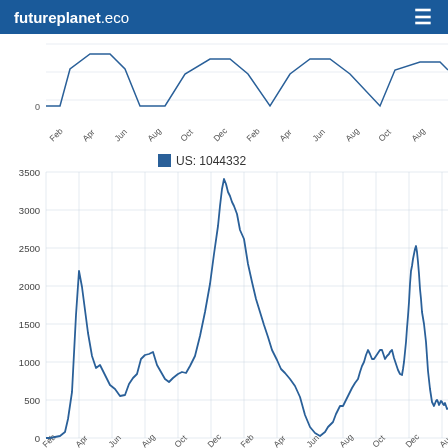futureplanet.eco
[Figure (continuous-plot): Two COVID-19 daily deaths line charts for the US stacked vertically. The top chart shows an earlier time period (partial view, cropped). The bottom chart shows US daily deaths from approximately Feb 2020 to Aug 2022, with y-axis 0-3500 and x-axis labels Feb, Apr, Jun, Aug, Oct, Dec, Feb, Apr, Jun, Aug, Oct, Dec, Feb, Apr, Jun, Aug. The chart shows multiple waves with peaks around Apr 2020 (~2200), Jan 2021 (~3350), Sep 2021 (~2100), Jan 2022 (~2600). Legend shows 'US: 1044332'.]